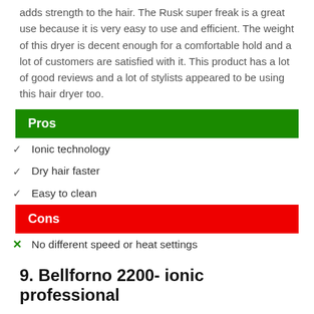adds strength to the hair. The Rusk super freak is a great use because it is very easy to use and efficient. The weight of this dryer is decent enough for a comfortable hold and a lot of customers are satisfied with it. This product has a lot of good reviews and a lot of stylists appeared to be using this hair dryer too.
Pros
Ionic technology
Dry hair faster
Easy to clean
Cons
No different speed or heat settings
9. Bellforno 2200- ionic professional